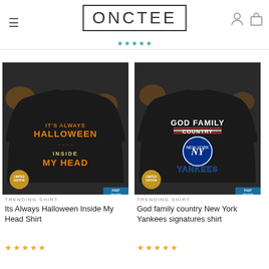[Figure (logo): ONCTEE store logo in a rectangular border with teal star decorations below]
[Figure (photo): Black sweatshirt with Halloween graphic text 'IT'S ALWAYS HALLOWEEN INSIDE MY HEAD' with Limited Edition and Fast Delivery badges]
TRENDING SHIRT
Its Always Halloween Inside My Head Shirt
[Figure (photo): Black sweatshirt with Yankees graphic text 'GOD FAMILY COUNTRY NEW YORK YANKEES' with Limited Edition and Fast Delivery badges]
TRENDING SHIRT
God family country New York Yankees signatures shirt